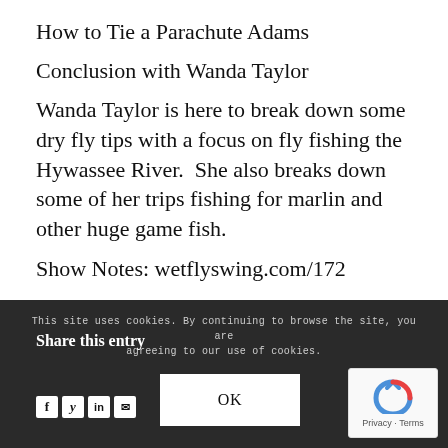How to Tie a Parachute Adams
Conclusion with Wanda Taylor
Wanda Taylor is here to break down some dry fly tips with a focus on fly fishing the Hywassee River. She also breaks down some of her trips fishing for marlin and other huge game fish.
Show Notes: wetflyswing.com/172
This site uses cookies. By continuing to browse the site, you are agreeing to our use of cookies. OK Share this entry
f in (social icons)